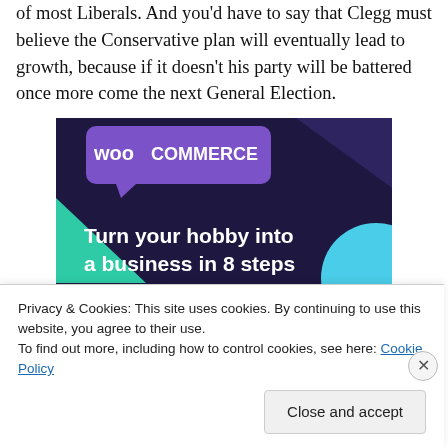of most Liberals. And you'd have to say that Clegg must believe the Conservative plan will eventually lead to growth, because if it doesn't his party will be battered once more come the next General Election.
[Figure (illustration): WooCommerce advertisement banner with dark navy/purple background, teal triangle shape on left, light blue circle on right, WooCommerce logo at top, text reading 'Turn your hobby into a business in 8 steps']
Privacy & Cookies: This site uses cookies. By continuing to use this website, you agree to their use.
To find out more, including how to control cookies, see here: Cookie Policy